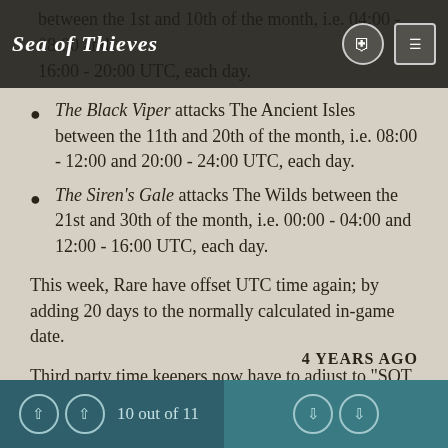Sea of Thieves
between the 1st and 10th of the month, i.e. 04:00 - 08:00 and 16:00 - 20:00 UTC, each day.
The Black Viper attacks The Ancient Isles between the 11th and 20th of the month, i.e. 08:00 - 12:00 and 20:00 - 24:00 UTC, each day.
The Siren's Gale attacks The Wilds between the 21st and 30th of the month, i.e. 00:00 - 04:00 and 12:00 - 16:00 UTC, each day.
This week, Rare have offset UTC time again; by adding 20 days to the normally calculated in-game date.
Third party time keepers now have to adjust to "SOT CI3" Time, i.e. "Sea of Thieves, Cursed Isles Week 3 Time".
4 YEARS AGO
10 out of 11